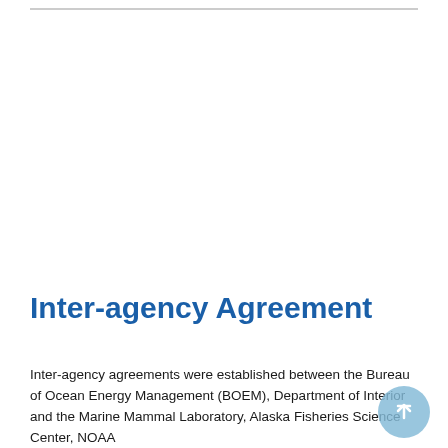Inter-agency Agreement
Inter-agency agreements were established between the Bureau of Ocean Energy Management (BOEM), Department of Interior and the Marine Mammal Laboratory, Alaska Fisheries Science Center, NOAA